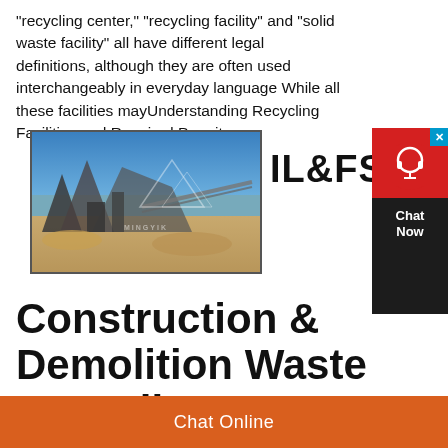“recycling center,” “recycling facility” and “solid waste facility” all have different legal definitions, although they are often used interchangeably in everyday language While all these facilities mayUnderstanding Recycling Facilities and Required Permits
[Figure (photo): Industrial construction and demolition waste recycling facility with machinery, conveyor belts, and piles of aggregate material against a blue sky. Watermark reads MINGYIK.]
IL&FS
[Figure (screenshot): Chat Now widget with red background, headset icon, and dark panel with white text reading Chat Now.]
Construction & Demolition Waste Recycling
Chat Online